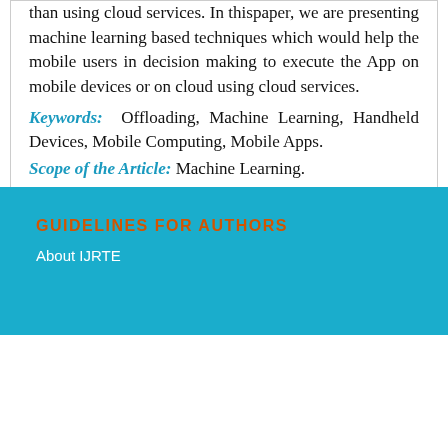than using cloud services. In thispaper, we are presenting machine learning based techniques which would help the mobile users in decision making to execute the App on mobile devices or on cloud using cloud services.
Keywords: Offloading, Machine Learning, Handheld Devices, Mobile Computing, Mobile Apps.
Scope of the Article: Machine Learning.
[Figure (other): Download PDF button]
GUIDELINES FOR AUTHORS
About IJRTE